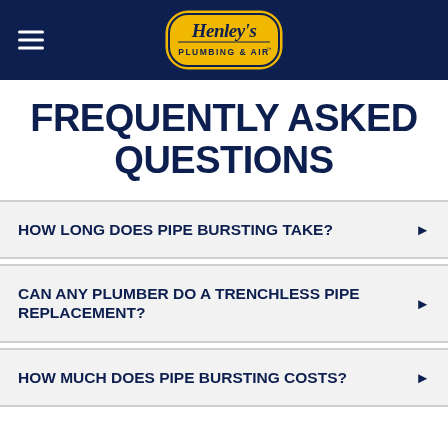Henley's Plumbing & Air
FREQUENTLY ASKED QUESTIONS
HOW LONG DOES PIPE BURSTING TAKE?
CAN ANY PLUMBER DO A TRENCHLESS PIPE REPLACEMENT?
HOW MUCH DOES PIPE BURSTING COSTS?